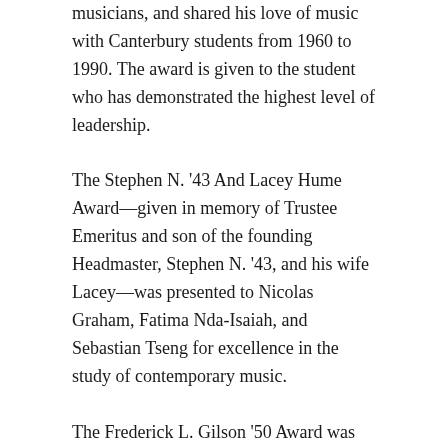musicians, and shared his love of music with Canterbury students from 1960 to 1990. The award is given to the student who has demonstrated the highest level of leadership.
The Stephen N. '43 And Lacey Hume Award—given in memory of Trustee Emeritus and son of the founding Headmaster, Stephen N. '43, and his wife Lacey—was presented to Nicolas Graham, Fatima Nda-Isaiah, and Sebastian Tseng for excellence in the study of contemporary music.
The Frederick L. Gilson '50 Award was presented to Lorelai Lee Swanek for excellence in classical music performance, and to Yurou Li for excellence in the study of the Carillon.
The John Thomas Smith Award for excellence in the study of English—given in memory of John Thomas Smith,